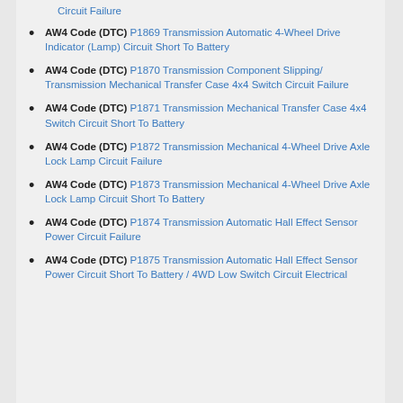AW4 Code (DTC) P1869 Transmission Automatic 4-Wheel Drive Indicator (Lamp) Circuit Short To Battery
AW4 Code (DTC) P1870 Transmission Component Slipping/ Transmission Mechanical Transfer Case 4x4 Switch Circuit Failure
AW4 Code (DTC) P1871 Transmission Mechanical Transfer Case 4x4 Switch Circuit Short To Battery
AW4 Code (DTC) P1872 Transmission Mechanical 4-Wheel Drive Axle Lock Lamp Circuit Failure
AW4 Code (DTC) P1873 Transmission Mechanical 4-Wheel Drive Axle Lock Lamp Circuit Short To Battery
AW4 Code (DTC) P1874 Transmission Automatic Hall Effect Sensor Power Circuit Failure
AW4 Code (DTC) P1875 Transmission Automatic Hall Effect Sensor Power Circuit Short To Battery / 4WD Low Switch Circuit Electrical